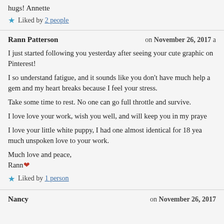hugs! Annette
★ Liked by 2 people
Rann Patterson   on November 26, 2017
I just started following you yesterday after seeing your cute graphics on Pinterest!
I so understand fatigue, and it sounds like you don't have much help. You are a gem and my heart breaks because I feel your stress.
Take some time to rest. No one can go full throttle and survive.
I love love your work, wish you well, and will keep you in my prayers.
I love your little white puppy, I had one almost identical for 18 years. He brought much unspoken love to your work.
Much love and peace,
Rann❤
★ Liked by 1 person
Nancy   on November 26, 2017